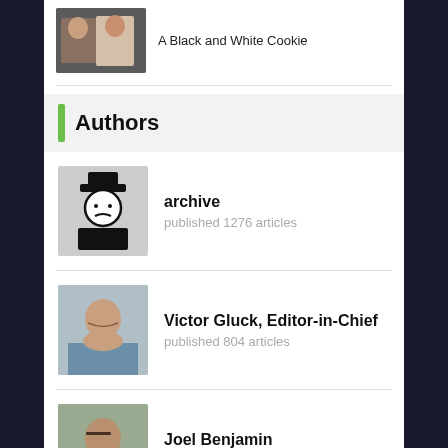[Figure (photo): Thumbnail photo for article 'A Black and White Cookie']
A Black and White Cookie
Authors
[Figure (illustration): Archive author avatar — cartoon figure with top hat]
archive
published 1276 articles
[Figure (photo): Photo of Victor Gluck, Editor-in-Chief]
Victor Gluck, Editor-in-Chief
published 804 articles
[Figure (photo): Photo of Joel Benjamin]
Joel Benjamin
published 447 articles